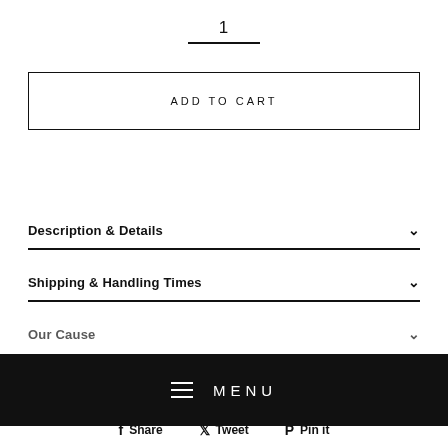1
ADD TO CART
Description & Details
Shipping & Handling Times
Our Cause
MENU
Share  Tweet  Pin it